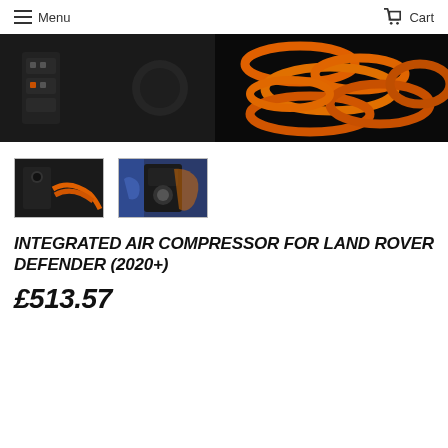Menu   Cart
[Figure (photo): Hero product photo showing air compressor unit on dark background with orange coiled hose on the right]
[Figure (photo): Thumbnail 1: Close-up of the integrated air compressor port with orange coiled hose]
[Figure (photo): Thumbnail 2: Hand adjusting dial on the integrated air compressor]
INTEGRATED AIR COMPRESSOR FOR LAND ROVER DEFENDER (2020+)
£513.57